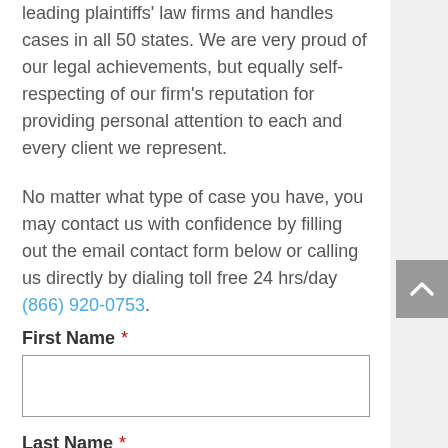leading plaintiffs' law firms and handles cases in all 50 states. We are very proud of our legal achievements, but equally self-respecting of our firm's reputation for providing personal attention to each and every client we represent.
No matter what type of case you have, you may contact us with confidence by filling out the email contact form below or calling us directly by dialing toll free 24 hrs/day (866) 920-0753.
First Name *
Last Name *